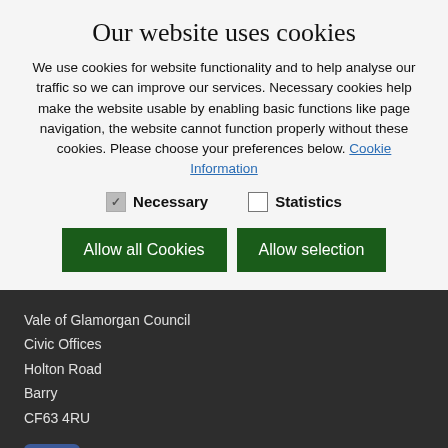Our website uses cookies
We use cookies for website functionality and to help analyse our traffic so we can improve our services. Necessary cookies help make the website usable by enabling basic functions like page navigation, the website cannot function properly without these cookies. Please choose your preferences below. Cookie Information
Necessary (checked)
Statistics (unchecked)
Allow all Cookies | Allow selection
Vale of Glamorgan Council
Civic Offices
Holton Road
Barry
CF63 4RU